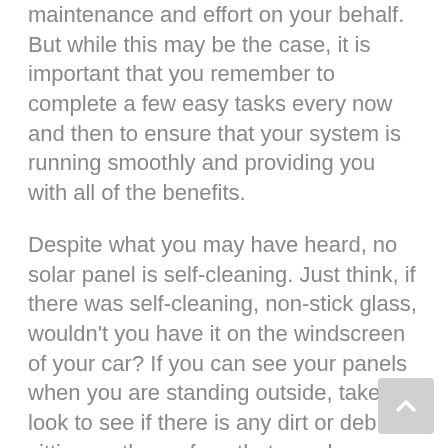maintenance and effort on your behalf. But while this may be the case, it is important that you remember to complete a few easy tasks every now and then to ensure that your system is running smoothly and providing you with all of the benefits.
Despite what you may have heard, no solar panel is self-cleaning. Just think, if there was self-cleaning, non-stick glass, wouldn't you have it on the windscreen of your car? If you can see your panels when you are standing outside, take a look to see if there is any dirt or debris sitting on the surface that may be covering them slightly and run water over them as needed to clear it away. How often you need to clean your panels is also dependant on the area in which you live. Near coastal, salty or farming regions or industrial areas will require you to clean your panels more often as there will be a faster build-up of grime. It